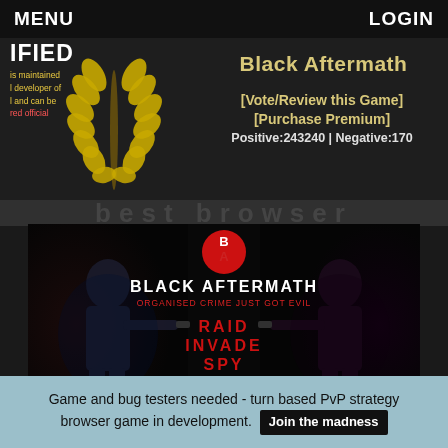MENU   LOGIN
Black Aftermath
IFIED
is maintained
developer of
and can be
red official
[Vote/Review this Game]
[Purchase Premium]
Positive:243240 | Negative:170
Best Browser
[Figure (screenshot): Black Aftermath game banner showing two silhouettes pointing guns at each other with text: BLACK AFTERMATH, ORGANISED CRIME JUST GOT EVIL, RAID, INVADE, SPY, HACK, DO YOU HAVE WHAT IT TAKES TO WIN!]
Website: http://www.blackaftermath.com | Publisher: Ashlea Bowlin
Black Aftermath is a Urban browser game
Game and bug testers needed - turn based PvP strategy browser game in development. Join the madness